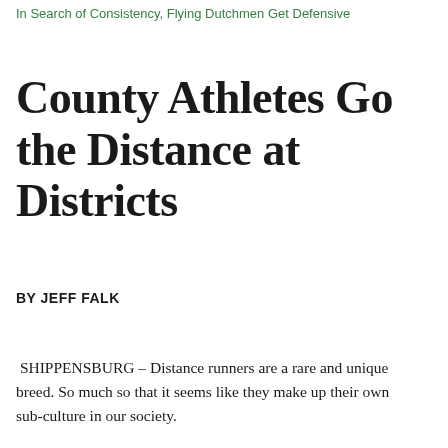In Search of Consistency, Flying Dutchmen Get Defensive
County Athletes Go the Distance at Districts
BY JEFF FALK
SHIPPENSBURG – Distance runners are a rare and unique breed. So much so that it seems like they make up their own sub-culture in our society.
On Saturday at Shippensburg University's Seth Grove Stadium, Lebanon County's middle and long distace clan turned the 88th annual District Three